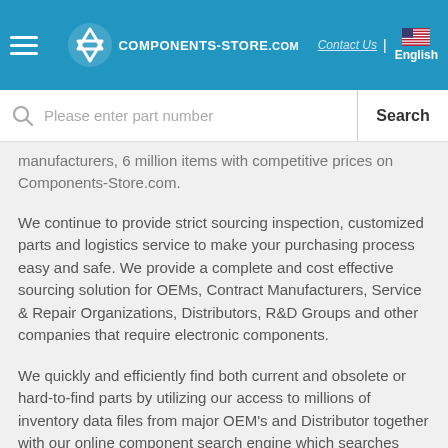Components-Store.com | Contact Us | English
[Figure (screenshot): Search bar with magnifying glass icon, placeholder text 'Please enter part number', and Search button]
manufacturers, 6 million items with competitive prices on Components-Store.com.
We continue to provide strict sourcing inspection, customized parts and logistics service to make your purchasing process easy and safe. We provide a complete and cost effective sourcing solution for OEMs, Contract Manufacturers, Service & Repair Organizations, Distributors, R&D Groups and other companies that require electronic components.
We quickly and efficiently find both current and obsolete or hard-to-find parts by utilizing our access to millions of inventory data files from major OEM's and Distributor together with our online component search engine which searches both our own warehouse stock as well as the global stock available through us.
What we sell